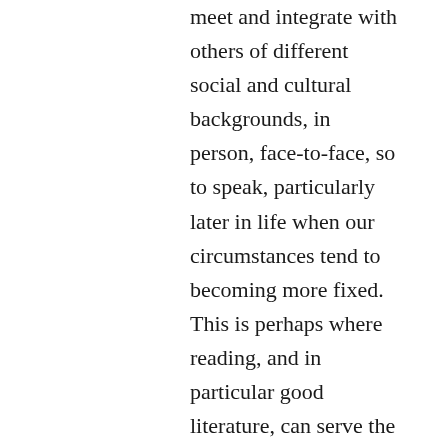...which is supposed to not always be easy, to meet and integrate with others of different social and cultural backgrounds, in person, face-to-face, so to speak, particularly later in life when our circumstances tend to becoming more fixed. This is perhaps where reading, and in particular good literature, can serve the purpose. I'm embarrassed to admit it, but I'm only just exploring the work of Virginia Woolf, and what a revelation it has been! She's really opened my eyes to the English Class System as it existed a century ago, but in particular to how women were viewed in society at that time. When we hear of the appalling abuse going on in the entertainment industry (and in so many institutions besides — the police, the church, the media, politics, et al) it's easy to think we've